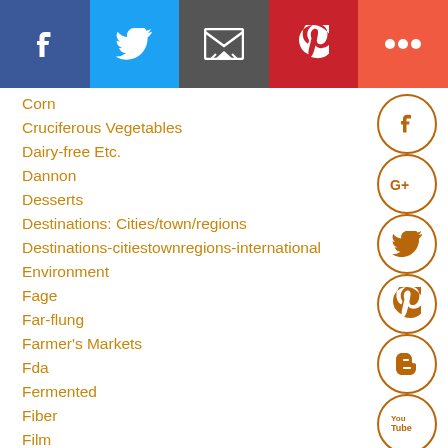[Figure (infographic): Social media share bar with Facebook, Twitter, Email, Pinterest, and More buttons]
Corn
Cruciferous Vegetables
Dairy-free Etc.
Dannon
Desserts
Destinations: Cities/town/regions
Destinations-citiestownregions-international
Environment
Fage
Far-flung
Farmer's Markets
Fda
Fermented
Fiber
Film
Film Characters
Foraged Food
Forest
Free
[Figure (infographic): Vertical column of social media circular icon buttons: Facebook, Google+, Twitter, Pinterest, Blogger, YouTube, More (three dots)]